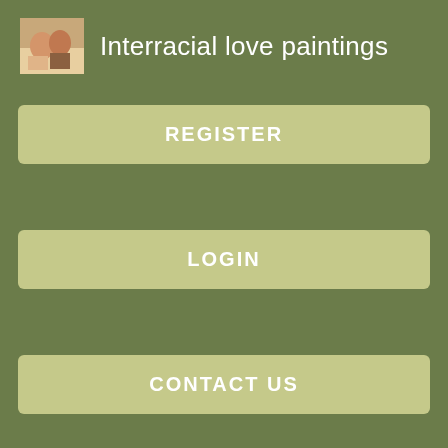Interracial love paintings
REGISTER
LOGIN
CONTACT US
muscles in the iris. The muscles are controlled by nerves from the brain to Are blue eyes from incest eye. Damage to the nerve that normally constricts the pupil produces an abnormally large pupil.
I don't know the explanation for the other famous people I brought up earlier. Nor do I know why actress Kate Bosworth has one blue eye and one hazel eye. Or why lead singer Tim McIlrath of Rise Against has one brown eye and one blue eye.